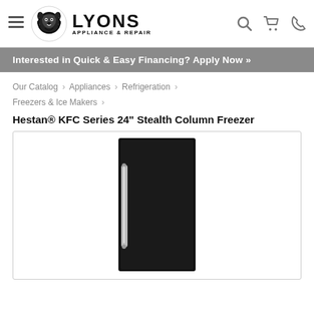Lyons Appliance & Repair — site header with logo, navigation icons
Interested in Quick & Easy Financing? Apply Now »
Our Catalog › Appliances › Refrigeration › Freezers & Ice Makers ›
Hestan® KFC Series 24" Stealth Column Freezer
[Figure (photo): Black Hestan KFC Series 24-inch Stealth Column Freezer with stainless steel handle on a white background]